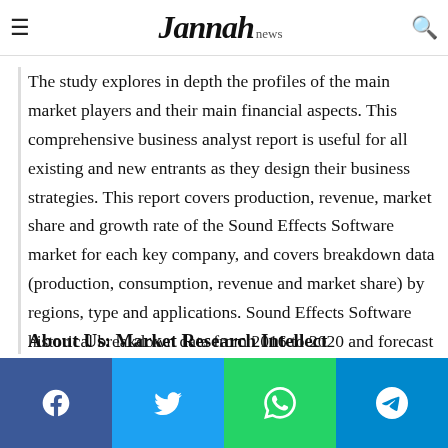Jannah news
The study explores in depth the profiles of the main market players and their main financial aspects. This comprehensive business analyst report is useful for all existing and new entrants as they design their business strategies. This report covers production, revenue, market share and growth rate of the Sound Effects Software market for each key company, and covers breakdown data (production, consumption, revenue and market share) by regions, type and applications. Sound Effects Software historical breakdown data from 2016 to 2020 and forecast to 2021-2029.
About Us: Market Research Intellect
Social share buttons: Facebook, Twitter, WhatsApp, Telegram